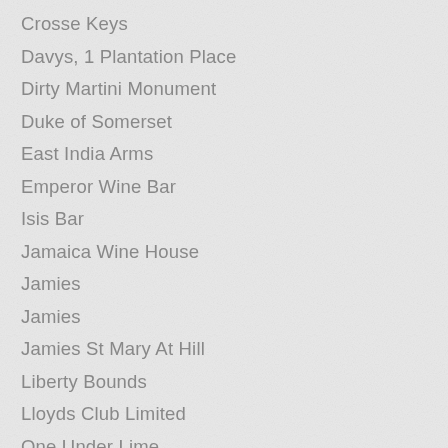Crosse Keys
Davys, 1 Plantation Place
Dirty Martini Monument
Duke of Somerset
East India Arms
Emperor Wine Bar
Isis Bar
Jamaica Wine House
Jamies
Jamies
Jamies St Mary At Hill
Liberty Bounds
Lloyds Club Limited
One Under Lime
Pause
Planet Of The Grapes
Revolution
Revolution
River Gardens